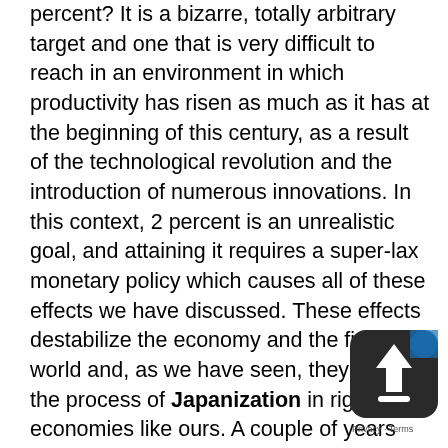percent? It is a bizarre, totally arbitrary target and one that is very difficult to reach in an environment in which productivity has risen as much as it has at the beginning of this century, as a result of the technological revolution and the introduction of numerous innovations. In this context, 2 percent is an unrealistic goal, and attaining it requires a super-lax monetary policy which causes all of these effects we have discussed. These effects destabilize the economy and the financial world and, as we have seen, they lead to the process of Japanization in rigid economies like ours. A couple of years ago, I was invited to a meeting at the Kiel Institute for the World Economy. The meeting was also attended by, among other experts, a former head economist at the ECB. Well, we eventually arrived at the conclusion that, under the current circumstances, the inflation target should not be 2 percent, but 0 percent, and the reference target for M3 growth should be between 2 and 2.5 percent. If this had been the
[Figure (other): Upload/share icon — a square app icon with rounded corners, dark background, and an upward-pointing arrow, partially overlapping the text in the bottom-right corner. A 'Privacy · Terms' label appears below it.]